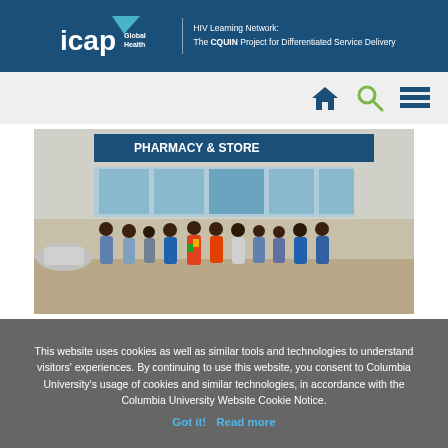ICAP Global Health | HIV Learning Network: The CQUIN Project for Differentiated Service Delivery
[Figure (photo): Group of approximately 11 people standing together in front of a pharmacy and store building. They are dressed in business and traditional attire. The setting appears to be in an African country.]
This website uses cookies as well as similar tools and technologies to understand visitors' experiences. By continuing to use this website, you consent to Columbia University's usage of cookies and similar technologies, in accordance with the Columbia University Website Cookie Notice.
Got it!   Read more
quality and ... management services by to ... differently ... to ...